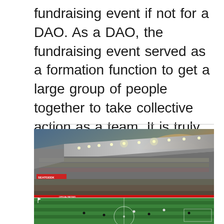fundraising event if not for a DAO. As a DAO, the fundraising event served as a formation function to get a large group of people together to take collective action as a team. It is truly amazing! 🙌🙌🙌🙌
[Figure (photo): Wide-angle photograph of a soccer stadium at sunset/dusk. The stadium has large floodlights illuminated, a sweeping curved roof structure, packed stands full of spectators, and players on a green pitch. An orange sunset sky is visible in the background. A 'SEATGEEK' advertisement sign is visible on the lower stands.]